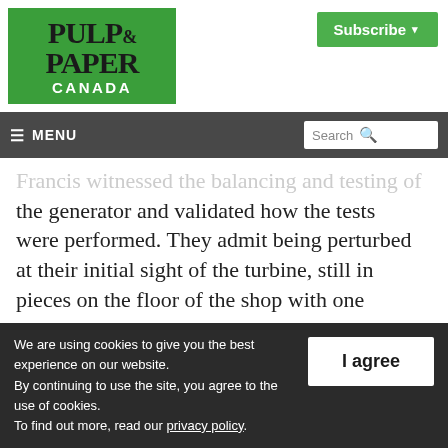[Figure (logo): Pulp & Paper Canada logo — green background with black serif text 'PULP & PAPER' and white sans-serif text 'CANADA']
Subscribe ▾
≡ MENU   Search 🔍
Francis witnessed the balancing and testing of the generator and validated how the tests were performed. They admit being perturbed at their initial sight of the turbine, still in pieces on the floor of the shop with one
We are using cookies to give you the best experience on our website.
By continuing to use the site, you agree to the use of cookies.
To find out more, read our privacy policy.
I agree